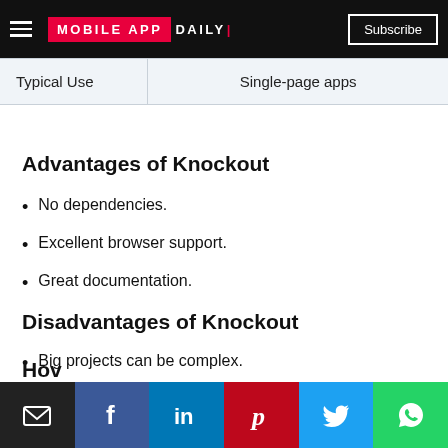MOBILE APP DAILY | Subscribe
| Typical Use |  |
| --- | --- |
| Typical Use | Single-page apps |
Advantages of Knockout
No dependencies.
Excellent browser support.
Great documentation.
Disadvantages of Knockout
Big projects can be complex.
Slowed development.
Not much in use now.
Hov